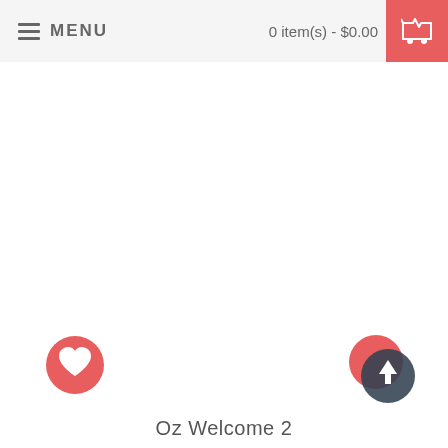MENU   0 item(s) - $0.00
[Figure (screenshot): Large white blank content area]
[Figure (illustration): Red circular heart (favorites) button in bottom-left area]
[Figure (illustration): Red circular button with dark overlay circle and up arrow (scroll-to-top) in bottom-right area]
Oz Welcome 2